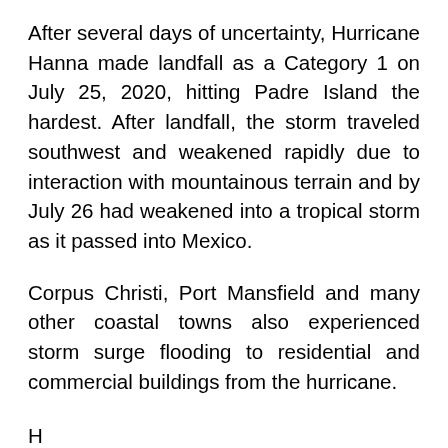After several days of uncertainty, Hurricane Hanna made landfall as a Category 1 on July 25, 2020, hitting Padre Island the hardest. After landfall, the storm traveled southwest and weakened rapidly due to interaction with mountainous terrain and by July 26 had weakened into a tropical storm as it passed into Mexico.
Corpus Christi, Port Mansfield and many other coastal towns also experienced storm surge flooding to residential and commercial buildings from the hurricane.
H
u
rr